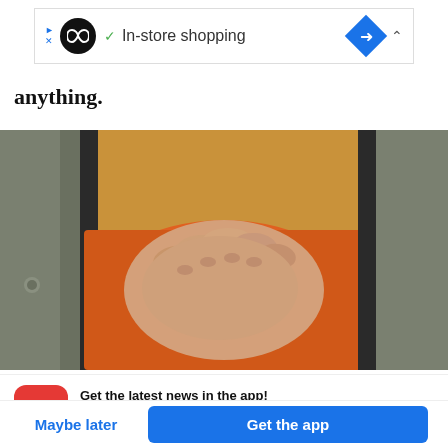[Figure (screenshot): Ad banner showing a black circular logo with infinity symbol, a checkmark, 'In-store shopping' text, a blue diamond navigation icon, and a chevron up arrow]
anything.
[Figure (photo): Photo of a person's hands clasped together, wearing orange clothing, pressed against what appears to be a metal slot or opening in a door]
[Figure (screenshot): BuzzFeed app notification card with red rounded icon showing a white upward trending arrow. Text: 'Get the latest news in the app! Stay up to date on the most breaking news, all from your BuzzFeed app.']
Maybe later
Get the app